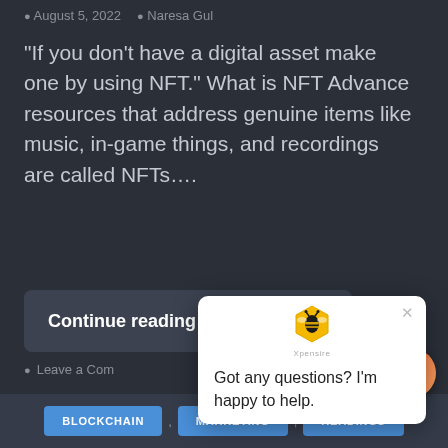August 5, 2022  Naresa Gul
“If you don’t have a digital asset make one by using NFT.” What is NFT Advance resources that address genuine items like music, in-game things, and recordings are called NFTs....
Continue reading
Leave a Com
[Figure (infographic): Chat popup from Xpensire with bee logo and message: Got any questions? I'm happy to help.]
[Figure (infographic): Orange chat FAB button (floating action button) in bottom right corner]
BLOCKCHAIN , MARKETING , READINGS